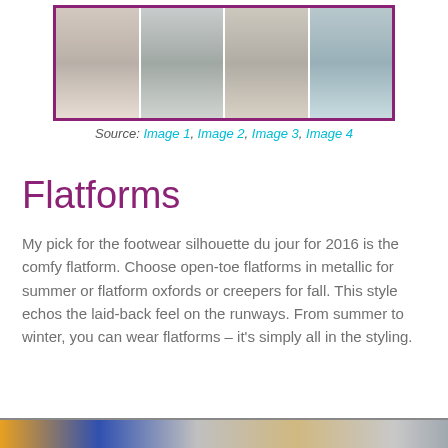[Figure (photo): Collage of four fashion photos showing women's lower body/legs wearing various flatform shoes in different outfits and settings, with a purple/magenta border]
Source: Image 1, Image 2, Image 3, Image 4
Flatforms
My pick for the footwear silhouette du jour for 2016 is the comfy flatform. Choose open-toe flatforms in metallic for summer or flatform oxfords or creepers for fall. This style echos the laid-back feel on the runways. From summer to winter, you can wear flatforms – it's simply all in the styling.
[Figure (photo): Bottom strip of another fashion image collage, partially visible at the bottom of the page]